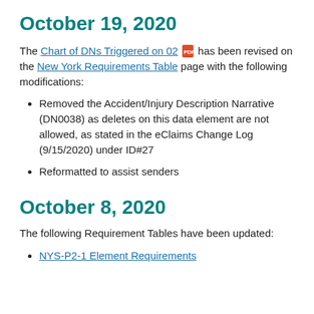October 19, 2020
The Chart of DNs Triggered on 02 [PDF icon] has been revised on the New York Requirements Table page with the following modifications:
Removed the Accident/Injury Description Narrative (DN0038) as deletes on this data element are not allowed, as stated in the eClaims Change Log (9/15/2020) under ID#27
Reformatted to assist senders
October 8, 2020
The following Requirement Tables have been updated:
NYS-P2-1 Element Requirements